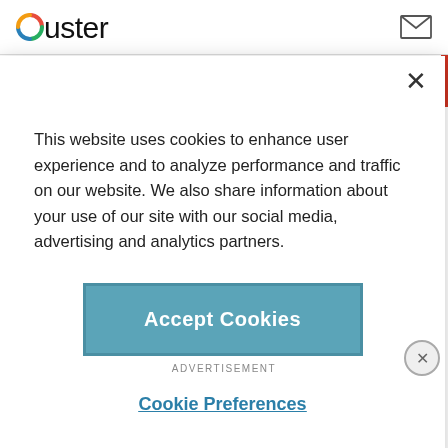Ouster
This website uses cookies to enhance user experience and to analyze performance and traffic on our website. We also share information about your use of our site with our social media, advertising and analytics partners.
Accept Cookies
Cookie Preferences
boutique properties still charging around $200 per night
and luxury prices soaring into the thousands.
ADVERTISEMENT